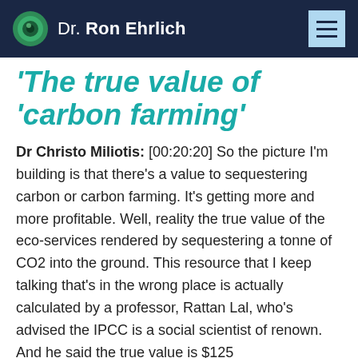Dr. Ron Ehrlich
'The true value of 'carbon farming'
Dr Christo Miliotis: [00:20:20] So the picture I'm building is that there's a value to sequestering carbon or carbon farming. It's getting more and more profitable. Well, reality the true value of the eco-services rendered by sequestering a tonne of CO2 into the ground. This resource that I keep talking that's in the wrong place is actually calculated by a professor, Rattan Lal, who's advised the IPCC is a social scientist of renown. And he said the true value is $125